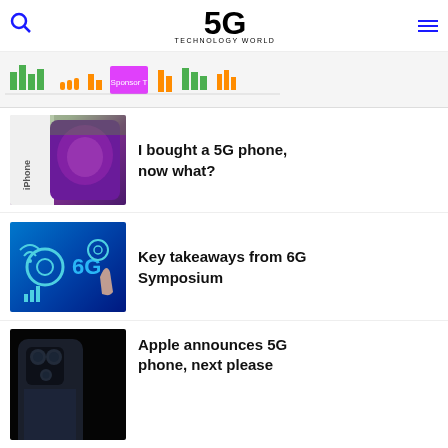5G TECHNOLOGY WORLD
[Figure (infographic): Signal strength bar chart strip showing colored bars in green, orange, pink/magenta across multiple columns]
[Figure (photo): iPhone 12 box and purple iPhone device shown side by side]
I bought a 5G phone, now what?
[Figure (photo): Blue digital technology concept image with 6G text and gear icons, hand pointing]
Key takeaways from 6G Symposium
[Figure (photo): Dark background with iPhone 12 Pro showing camera system on back]
Apple announces 5G phone, next please